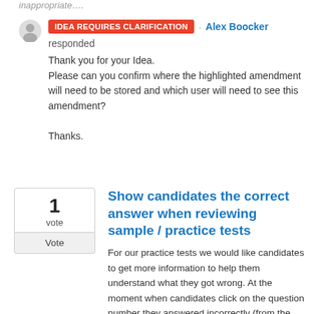inappropriate....
IDEA REQUIRES CLARIFICATION · Alex Boocker responded
Thank you for your Idea.
Please can you confirm where the highlighted amendment will need to be stored and which user will need to see this amendment?

Thanks.
Show candidates the correct answer when reviewing sample / practice tests
For our practice tests we would like candidates to get more information to help them understand what they got wrong. At the moment when candidates click on the question number they answered incorrectly (from the review screen) it takes them to the question but only highlights the answer they gave. It would be far more helpful if it also indicated what the correct